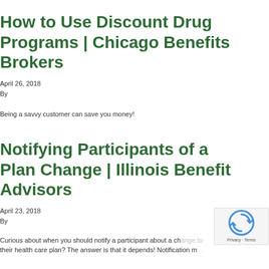How to Use Discount Drug Programs | Chicago Benefits Brokers
April 26, 2018
By
Being a savvy customer can save you money!
Notifying Participants of a Plan Change | Illinois Benefit Advisors
April 23, 2018
By
Curious about when you should notify a participant about a change to their health care plan? The answer is that it depends! Notification m...